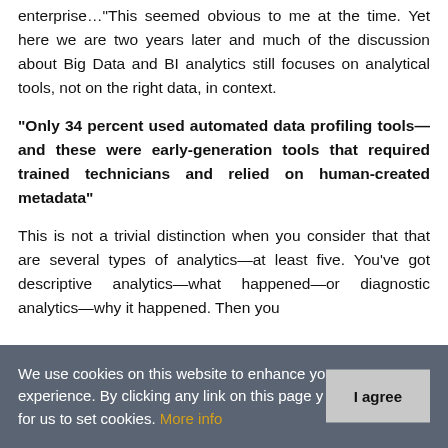enterprise…"This seemed obvious to me at the time. Yet here we are two years later and much of the discussion about Big Data and BI analytics still focuses on analytical tools, not on the right data, in context.
"Only 34 percent used automated data profiling tools—and these were early-generation tools that required trained technicians and relied on human-created metadata"
This is not a trivial distinction when you consider that that are several types of analytics—at least five. You've got descriptive analytics—what happened—or diagnostic analytics—why it happened. Then you
We use cookies on this website to enhance your user experience. By clicking any link on this page you give your consent for us to set cookies. More info